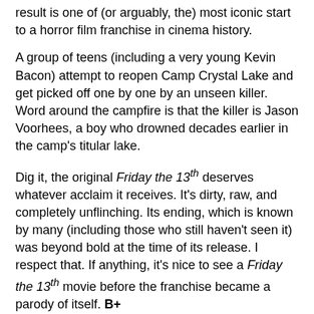result is one of (or arguably, the) most iconic start to a horror film franchise in cinema history.
A group of teens (including a very young Kevin Bacon) attempt to reopen Camp Crystal Lake and get picked off one by one by an unseen killer. Word around the campfire is that the killer is Jason Voorhees, a boy who drowned decades earlier in the camp’s titular lake.
Dig it, the original Friday the 13th deserves whatever acclaim it receives. It’s dirty, raw, and completely unflinching. Its ending, which is known by many (including those who still haven’t seen it) was beyond bold at the time of its release. I respect that. If anything, it’s nice to see a Friday the 13th movie before the franchise became a parody of itself. B+
Best Kill: Easy: Bacon + arrow through the neck = dead meat.
Friday the 13th Part 2 (1981)
[Figure (photo): Dark/black image, partial view of a photo related to Friday the 13th Part 2]